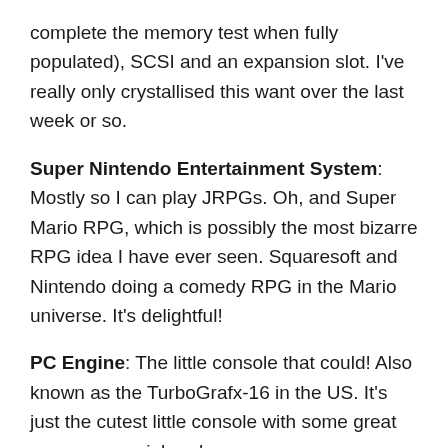complete the memory test when fully populated), SCSI and an expansion slot. I've really only crystallised this want over the last week or so.
Super Nintendo Entertainment System: Mostly so I can play JRPGs. Oh, and Super Mario RPG, which is possibly the most bizarre RPG idea I have ever seen. Squaresoft and Nintendo doing a comedy RPG in the Mario universe. It's delightful!
PC Engine: The little console that could! Also known as the TurboGrafx-16 in the US. It's just the cutest little console with some great games an peripherals.
The Upgrades and Peripherals
Stuff I want to get to improve the systems I already